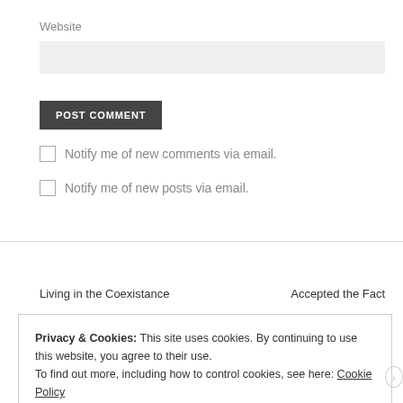Website
POST COMMENT
Notify me of new comments via email.
Notify me of new posts via email.
Living in the Coexistance
Accepted the Fact
Privacy & Cookies: This site uses cookies. By continuing to use this website, you agree to their use.
To find out more, including how to control cookies, see here: Cookie Policy
Close and accept